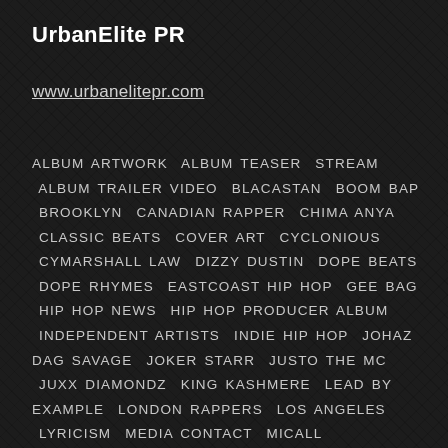UrbanElite PR
www.urbanelitepr.com
ALBUM ARTWORK  ALBUM TEASER  STREAM  ALBUM TRAILER VIDEO  BLACASTAN  BOOM BAP  BROOKLYN  CANADIAN RAPPER  CHIMA ANYA  CLASSIC BEATS  COVER ART  CYCLONIOUS  CYMARSHALL LAW  DIZZY DUSTIN  DOPE BEATS  DOPE RHYMES  EASTCOAST HIP HOP  GEE BAG  HIP HOP NEWS  HIP HOP PRODUCER ALBUM  INDEPENDENT ARTISTS  INDIE HIP HOP  JOHAZ DAG SAVAGE  JOKER STARR  JUSTO THE MC  JUXX DIAMONDZ  KING KASHMERE  LEAD BY EXAMPLE  LONDON RAPPERS  LOS ANGELES  LYRICISM  MEDIA CONTACT  MICALL